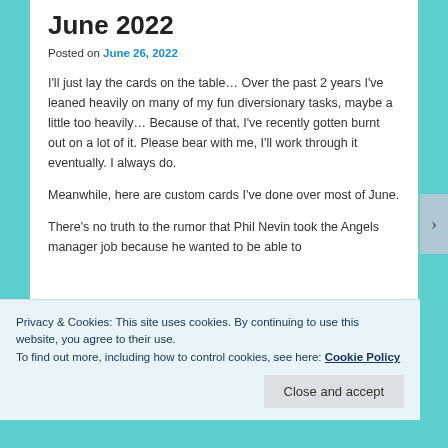June 2022
Posted on June 26, 2022
I'll just lay the cards on the table… Over the past 2 years I've leaned heavily on many of my fun diversionary tasks, maybe a little too heavily… Because of that, I've recently gotten burnt out on a lot of it. Please bear with me, I'll work through it eventually. I always do.
Meanwhile, here are custom cards I've done over most of June.
There's no truth to the rumor that Phil Nevin took the Angels manager job because he wanted to be able to
Privacy & Cookies: This site uses cookies. By continuing to use this website, you agree to their use.
To find out more, including how to control cookies, see here: Cookie Policy
Close and accept